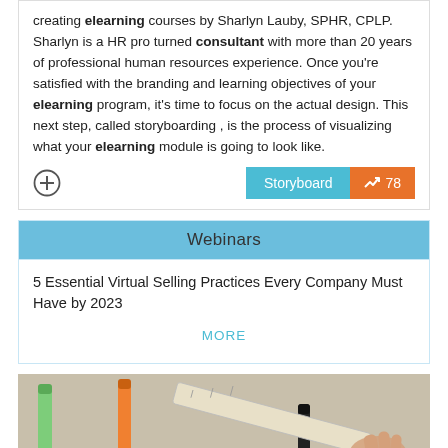creating elearning courses by Sharlyn Lauby, SPHR, CPLP. Sharlyn is a HR pro turned consultant with more than 20 years of professional human resources experience. Once you're satisfied with the branding and learning objectives of your elearning program, it's time to focus on the actual design. This next step, called storyboarding , is the process of visualizing what your elearning module is going to look like.
Webinars
5 Essential Virtual Selling Practices Every Company Must Have by 2023
MORE
[Figure (photo): Photo of colorful markers (green, orange, black) and a ruler on a beige surface with a hand visible]